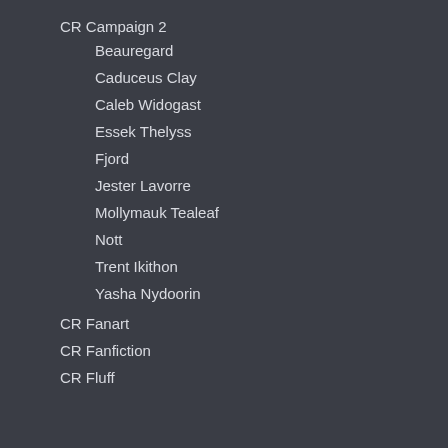CR Campaign 2
Beauregard
Caduceus Clay
Caleb Widogast
Essek Thelyss
Fjord
Jester Lavorre
Mollymauk Tealeaf
Nott
Trent Ikithon
Yasha Nydoorin
CR Fanart
CR Fanfiction
CR Fluff